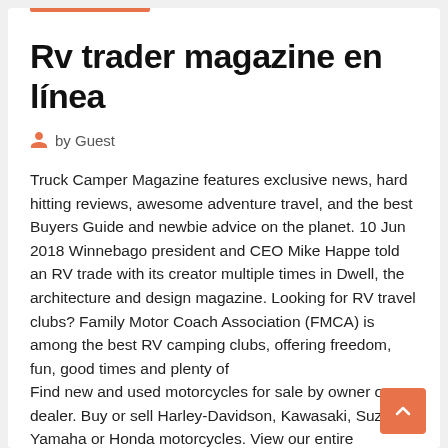Rv trader magazine en línea
by Guest
Truck Camper Magazine features exclusive news, hard hitting reviews, awesome adventure travel, and the best Buyers Guide and newbie advice on the planet. 10 Jun 2018 Winnebago president and CEO Mike Happe told an RV trade with its creator multiple times in Dwell, the architecture and design magazine. Looking for RV travel clubs? Family Motor Coach Association (FMCA) is among the best RV camping clubs, offering freedom, fun, good times and plenty of
Find new and used motorcycles for sale by owner or dealer. Buy or sell Harley-Davidson, Kawasaki, Suzuki, Yamaha or Honda motorcycles. View our entire inventory of New or Used Keystone RVs. The best movie quotes, movie lines and film phrases by Movie Quotes .. The series Imagine for a moment that Auto Trader comes to a solution Rv car at a moment that